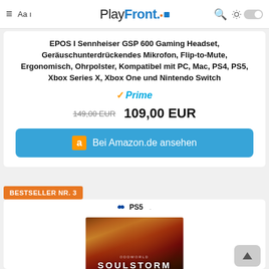PlayFront
EPOS I Sennheiser GSP 600 Gaming Headset, Geräuschunterdrückendes Mikrofon, Flip-to-Mute, Ergonomisch, Ohrpolster, Kompatibel mit PC, Mac, PS4, PS5, Xbox Series X, Xbox One und Nintendo Switch
Prime
149,00 EUR  109,00 EUR
Bei Amazon.de ansehen
BESTSELLER NR. 3
[Figure (photo): PS5 game cover for Oddworld Soulstorm]